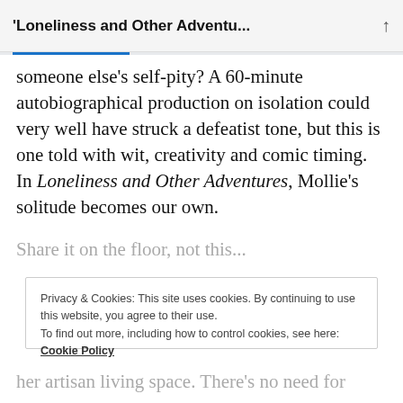'Loneliness and Other Adventu...
someone else's self-pity? A 60-minute autobiographical production on isolation could very well have struck a defeatist tone, but this is one told with wit, creativity and comic timing. In Loneliness and Other Adventures, Mollie's solitude becomes our own.
Privacy & Cookies: This site uses cookies. By continuing to use this website, you agree to their use.
To find out more, including how to control cookies, see here:
Cookie Policy
Close and accept
her artisan living space. There's no need for